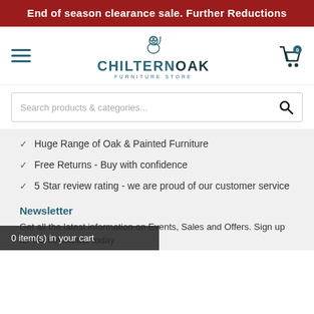End of season clearance sale. Further Reductions
[Figure (logo): Chiltern Oak Furniture Store logo with squirrel icon, hamburger menu icon on left, shopping cart icon on right with badge showing 0]
Search products & categories...
Huge Range of Oak & Painted Furniture
Free Returns - Buy with confidence
5 Star review rating - we are proud of our customer service
Newsletter
Get all the latest information on Events, Sales and Offers. Sign up for the newsletter today
0 item(s) in your cart